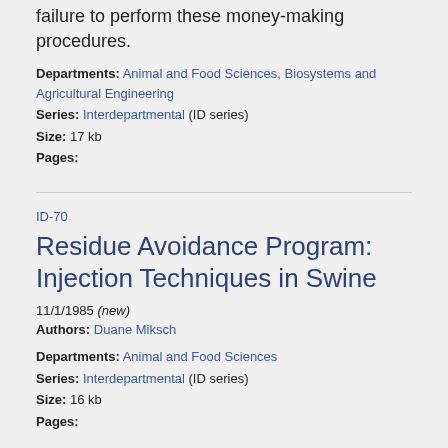failure to perform these money-making procedures.
Departments: Animal and Food Sciences, Biosystems and Agricultural Engineering
Series: Interdepartmental (ID series)
Size: 17 kb
Pages:
ID-70
Residue Avoidance Program: Injection Techniques in Swine
11/1/1985 (new)
Authors: Duane Miksch
Departments: Animal and Food Sciences
Series: Interdepartmental (ID series)
Size: 16 kb
Pages:
ID-80